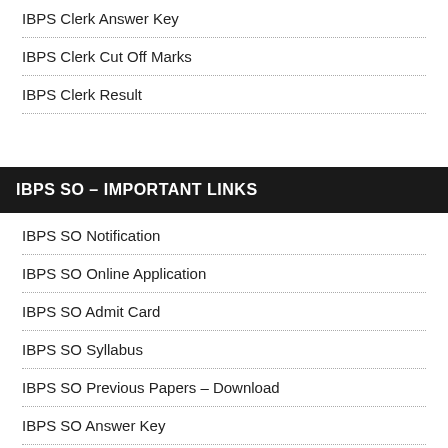IBPS Clerk Answer Key
IBPS Clerk Cut Off Marks
IBPS Clerk Result
IBPS SO – IMPORTANT LINKS
IBPS SO Notification
IBPS SO Online Application
IBPS SO Admit Card
IBPS SO Syllabus
IBPS SO Previous Papers – Download
IBPS SO Answer Key
IBPS SO Cut Off Marks